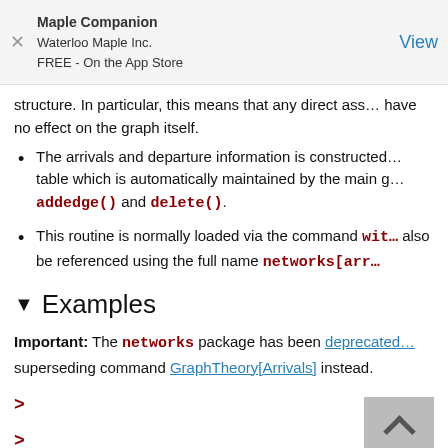Maple Companion
Waterloo Maple Inc.
FREE - On the App Store
View
structure. In particular, this means that any direct assignment will have no effect on the graph itself.
The arrivals and departure information is constructed from a table which is automatically maintained by the main graph via addedge() and delete().
This routine is normally loaded via the command with(...); it can also be referenced using the full name networks[arrivals].
Examples
Important: The networks package has been deprecated. Please use the superseding command GraphTheory[Arrivals] instead.
>
>
>